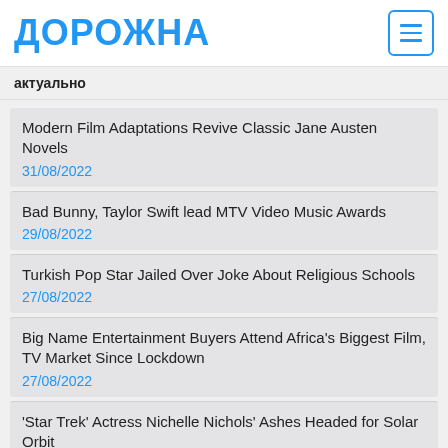ДОРОЖНА
актуально
Modern Film Adaptations Revive Classic Jane Austen Novels
31/08/2022
Bad Bunny, Taylor Swift lead MTV Video Music Awards
29/08/2022
Turkish Pop Star Jailed Over Joke About Religious Schools
27/08/2022
Big Name Entertainment Buyers Attend Africa's Biggest Film, TV Market Since Lockdown
27/08/2022
'Star Trek' Actress Nichelle Nichols' Ashes Headed for Solar Orbit